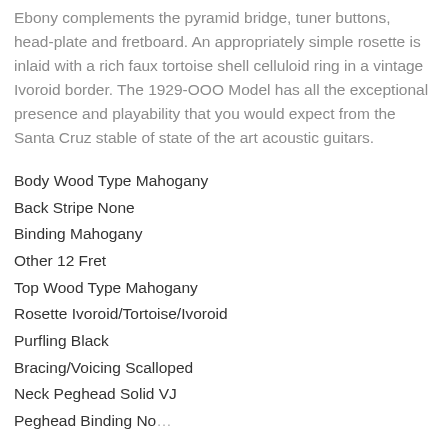Ebony complements the pyramid bridge, tuner buttons, head-plate and fretboard. An appropriately simple rosette is inlaid with a rich faux tortoise shell celluloid ring in a vintage Ivoroid border. The 1929-OOO Model has all the exceptional presence and playability that you would expect from the Santa Cruz stable of state of the art acoustic guitars.
Body Wood Type Mahogany
Back Stripe None
Binding Mahogany
Other 12 Fret
Top Wood Type Mahogany
Rosette Ivoroid/Tortoise/Ivoroid
Purfling Black
Bracing/Voicing Scalloped
Neck Peghead Solid VJ
Peghead Binding None